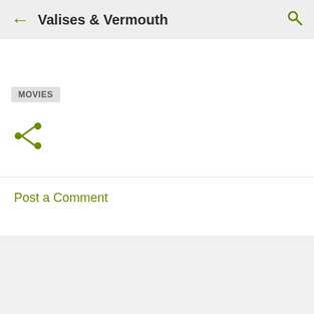← Valises & Vermouth 🔍
MOVIES
[Figure (illustration): Share icon (three connected dots with lines) in olive green color]
Post a Comment